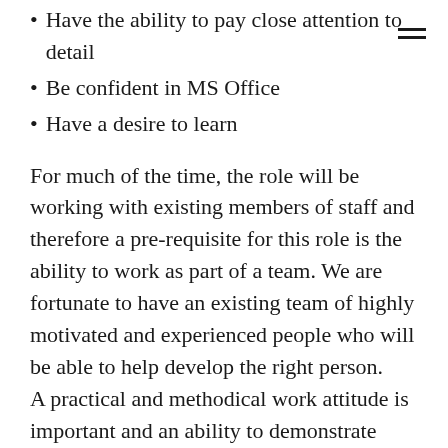Have the ability to pay close attention to detail
Be confident in MS Office
Have a desire to learn
For much of the time, the role will be working with existing members of staff and therefore a pre-requisite for this role is the ability to work as part of a team. We are fortunate to have an existing team of highly motivated and experienced people who will be able to help develop the right person.
A practical and methodical work attitude is important and an ability to demonstrate energy and effectiveness. Additional training may be provided as part of our ongoing training and investing in skills.
This role will be full time for 12 months with the possibility of a full-time permanent position at the end